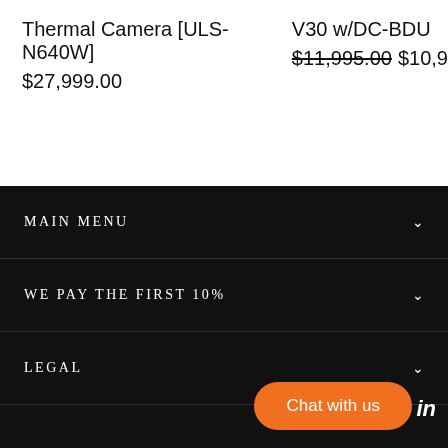Thermal Camera [ULS-N640W]
$27,999.00
V30 w/DC-BDU
$11,995.00 $10,9...
MAIN MENU
WE PAY THE FIRST 10%
LEGAL
Chat with us
in